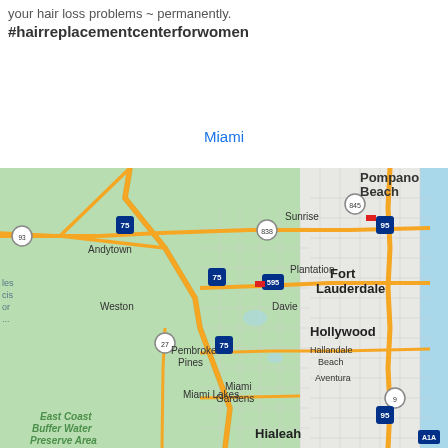your hair loss problems ~ permanently. #hairreplacementcenterforwomen
Miami
[Figure (map): Google Maps view of the Miami/Fort Lauderdale/Hollywood area in South Florida, showing major highways (I-75, I-95, I-595, SR-838, SR-845, SR-27, US-9, A1A), cities (Andytown, Weston, Sunrise, Plantation, Fort Lauderdale, Davie, Pembroke Pines, Hollywood, Hallandale Beach, Aventura, Miami Gardens, Miami Lakes, Hialeah), and the East Coast Buffer Water Preserve Area. The map shows a green land area to the west (Everglades), urban grid to the east, and blue water (Atlantic Ocean) on the right edge.]